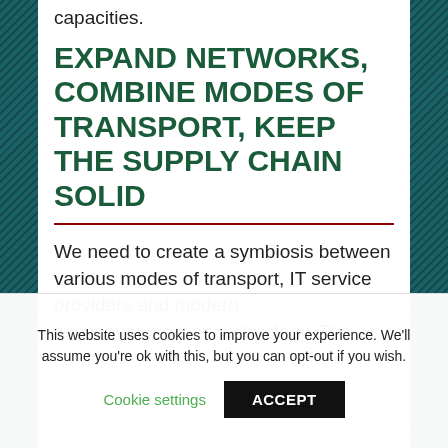capacities.
EXPAND NETWORKS, COMBINE MODES OF TRANSPORT, KEEP THE SUPPLY CHAIN SOLID
We need to create a symbiosis between various modes of transport, IT service providers and modern telecommunication technology. The
This website uses cookies to improve your experience. We'll assume you're ok with this, but you can opt-out if you wish.

Cookie settings   ACCEPT